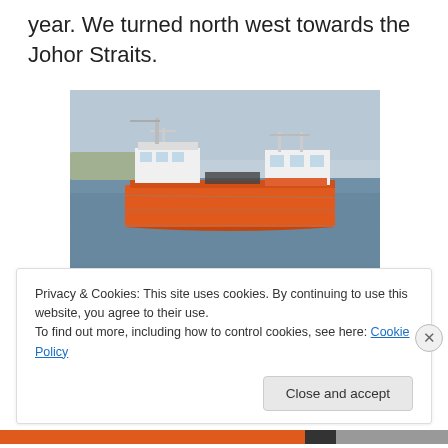year. We turned north west towards the Johor Straits.
[Figure (photo): A large orange and white cargo/heavy-lift ship (Dockwise vessel) seen from the side on open water, with a hazy sky in the background.]
A Dockwise ship
Privacy & Cookies: This site uses cookies. By continuing to use this website, you agree to their use.
To find out more, including how to control cookies, see here: Cookie Policy
Close and accept